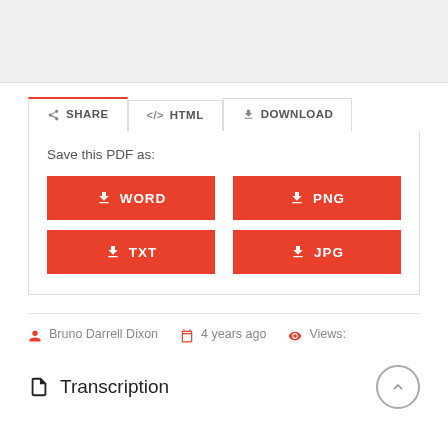[Figure (screenshot): Gray top area representing a document preview or image placeholder]
SHARE | </> HTML | DOWNLOAD
Save this PDF as:
WORD | PNG | TXT | JPG
Bruno Darrell Dixon   4 years ago   Views:
Transcription